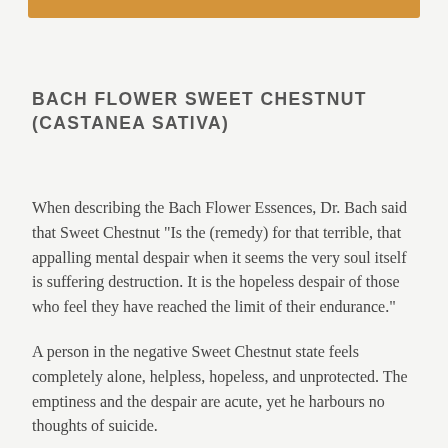[Figure (other): Orange decorative horizontal bar at the top of the page]
BACH FLOWER SWEET CHESTNUT (CASTANEA SATIVA)
When describing the Bach Flower Essences, Dr. Bach said that Sweet Chestnut "Is the (remedy) for that terrible, that appalling mental despair when it seems the very soul itself is suffering destruction. It is the hopeless despair of those who feel they have reached the limit of their endurance."
A person in the negative Sweet Chestnut state feels completely alone, helpless, hopeless, and unprotected. The emptiness and the despair are acute, yet he harbours no thoughts of suicide.